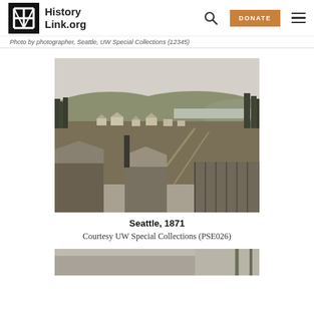HistoryLink.org
Photo by photographer, Seattle, UW Special Collections (12345)
[Figure (photo): Black and white historical photograph of Seattle in 1871, showing a panoramic view of the early settlement with wooden buildings, cleared land, and forested hills in the background.]
Seattle, 1871
Courtesy UW Special Collections (PSE026)
[Figure (photo): Partially visible historical photograph at the bottom of the page.]